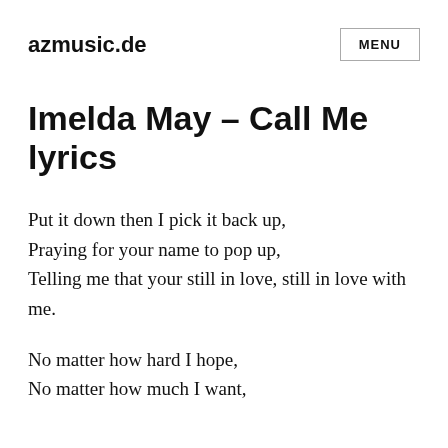azmusic.de
Imelda May – Call Me lyrics
Put it down then I pick it back up,
Praying for your name to pop up,
Telling me that your still in love, still in love with me.
No matter how hard I hope,
No matter how much I want,